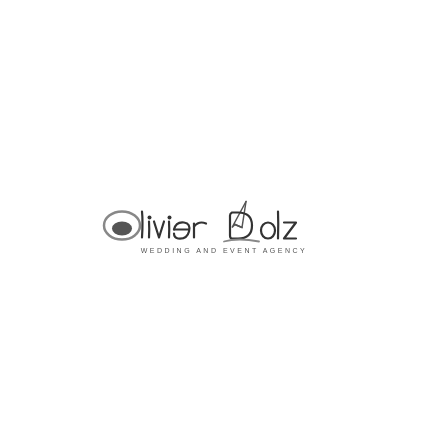[Figure (logo): Olivier Dolz Wedding and Event Agency logo. Stylized script/handwritten text reading 'Olivier Dolz' in dark gray with a decorative pen nib or arrow graphic above the 'D', followed by smaller spaced uppercase text 'WEDDING AND EVENT AGENCY' below.]